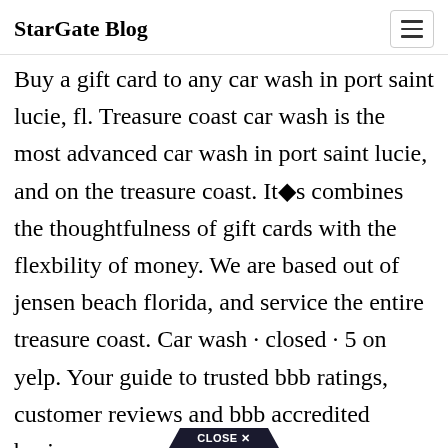StarGate Blog
Buy a gift card to any car wash in port saint lucie, fl. Treasure coast car wash is the most advanced car wash in port saint lucie, and on the treasure coast. It■s combines the thoughtfulness of gift cards with the flexbility of money. We are based out of jensen beach florida, and service the entire treasure coast. Car wash · closed · 5 on yelp. Your guide to trusted bbb ratings, customer reviews and bbb accredited businesses.